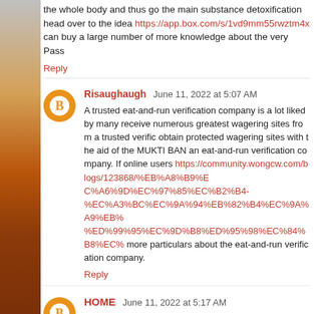the whole body and thus go the main substance detoxification head over to the idea https://app.box.com/s/1vd9mm55rwztm4x can buy a large number of more knowledge about the very Pass
Reply
Risaughaugh June 11, 2022 at 5:07 AM
A trusted eat-and-run verification company is a lot liked by many receive numerous greatest wagering sites from a trusted verific obtain protected wagering sites with the aid of the MUKTI BAN an eat-and-run verification company. If online users https://community.wongcw.com/blogs/123868/%EB%A8%B9%E C%A6%9D%EC%97%85%EC%B2%B4-%EC%A3%BC%EC%9A%94%EB%82%B4%EC%9A%A9%EB %ED%99%95%EC%9D%B8%ED%95%98%EC%84%B8%EC% more particulars about the eat-and-run verification company.
Reply
HOME June 11, 2022 at 5:17 AM
Pass Your Test detox cleansing products find a way to get rid whole body without forcing unintended side effects. People you detoxifying checks on an useful approach using the Pass Your T